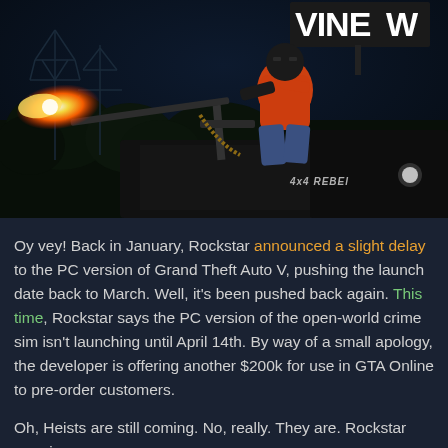[Figure (screenshot): Dark nighttime scene from GTA V showing an armed character in a mask and orange jacket operating a mounted machine gun (firing with muzzle flash) on top of a black 4x4 REBEL truck/vehicle. Power line towers and trees visible in background. VINEW partial text visible on a billboard sign at top.]
Oy vey! Back in January, Rockstar announced a slight delay to the PC version of Grand Theft Auto V, pushing the launch date back to March. Well, it's been pushed back again. This time, Rockstar says the PC version of the open-world crime sim isn't launching until April 14th. By way of a small apology, the developer is offering another $200k for use in GTA Online to pre-order customers.
Oh, Heists are still coming. No, really. They are. Rockstar promises.